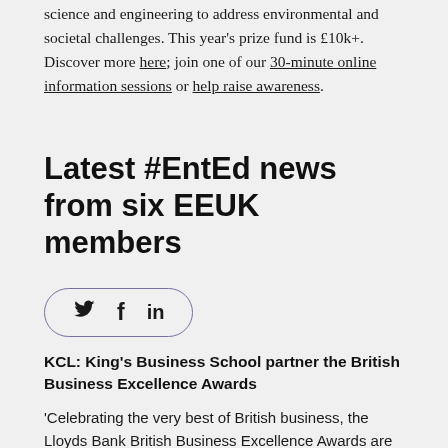science and engineering to address environmental and societal challenges. This year's prize fund is £10k+. Discover more here; join one of our 30-minute online information sessions or help raise awareness.
Latest #EntEd news from six EEUK members
[Figure (other): Social media share icons: Twitter (bird), Facebook (f), LinkedIn (in) inside a rounded rectangle border]
KCL: King's Business School partner the British Business Excellence Awards
'Celebrating the very best of British business, the Lloyds Bank British Business Excellence Awards are proud to announce that entries are now open. The prestigious awards showcase the